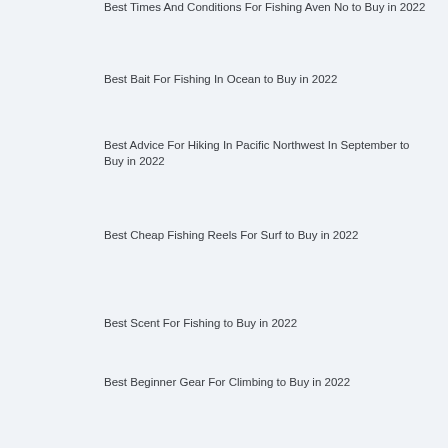Best Times And Conditions For Fishing Aven No to Buy in 2022
Best Bait For Fishing In Ocean to Buy in 2022
Best Advice For Hiking In Pacific Northwest In September to Buy in 2022
Best Cheap Fishing Reels For Surf to Buy in 2022
Best Scent For Fishing to Buy in 2022
Best Beginner Gear For Climbing to Buy in 2022